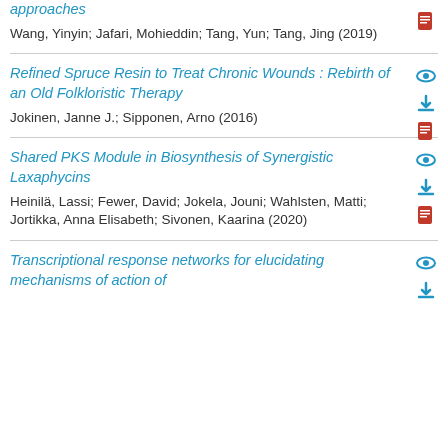approaches
Wang, Yinyin; Jafari, Mohieddin; Tang, Yun; Tang, Jing (2019)
Refined Spruce Resin to Treat Chronic Wounds : Rebirth of an Old Folkloristic Therapy
Jokinen, Janne J.; Sipponen, Arno (2016)
Shared PKS Module in Biosynthesis of Synergistic Laxaphycins
Heinilä, Lassi; Fewer, David; Jokela, Jouni; Wahlsten, Matti; Jortikka, Anna Elisabeth; Sivonen, Kaarina (2020)
Transcriptional response networks for elucidating mechanisms of action of